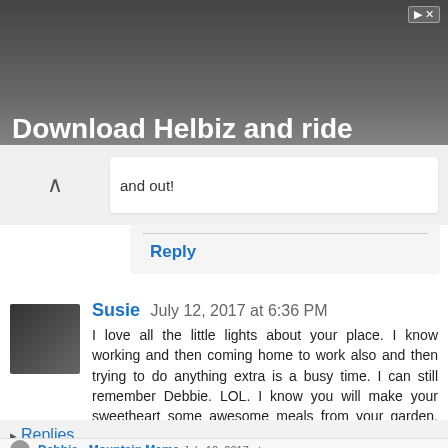[Figure (screenshot): Advertisement banner showing 'Download Helbiz and ride' with dark background of bicycle handlebars]
and out!
Reply
Susie  July 12, 2017 at 6:36 PM
I love all the little lights about your place. I know working and then coming home to work also and then trying to do anything extra is a busy time. I can still remember Debbie. LOL. I know you will make your sweetheart some awesome meals from your garden. It's been too rainy and cloudy here for spotting the moon. But I loved your photos. Blessings , xoxo, Susie
Reply
▸ Replies
Debbie - Mountain Mama  July 12, 2017 at